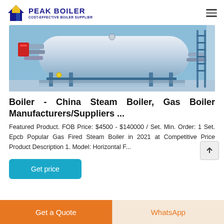PEAK BOILER — COST-EFFECTIVE BOILER SUPPLIER
[Figure (photo): Industrial horizontal steam boiler on a steel frame support structure, photographed from the side. The boiler is a large silver/grey cylindrical tank with pipes, valves, a red component on the left, and a steel ladder on the right side. The image has a blue industrial background.]
Boiler - China Steam Boiler, Gas Boiler Manufacturers/Suppliers ...
Featured Product. FOB Price: $4500 - $140000 / Set. Min. Order: 1 Set. Epcb Popular Gas Fired Steam Boiler in 2021 at Competitive Price Product Description 1. Model: Horizontal F...
Get price
Get a Quote
WhatsApp